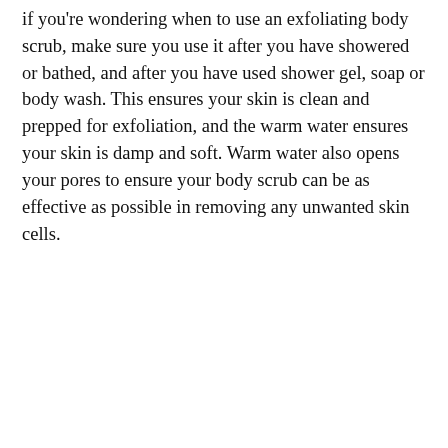if you're wondering when to use an exfoliating body scrub, make sure you use it after you have showered or bathed, and after you have used shower gel, soap or body wash. This ensures your skin is clean and prepped for exfoliation, and the warm water ensures your skin is damp and soft. Warm water also opens your pores to ensure your body scrub can be as effective as possible in removing any unwanted skin cells.